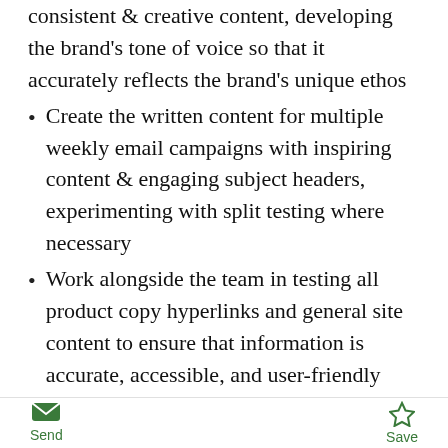consistent & creative content, developing the brand's tone of voice so that it accurately reflects the brand's unique ethos
Create the written content for multiple weekly email campaigns with inspiring content & engaging subject headers, experimenting with split testing where necessary
Work alongside the team in testing all product copy hyperlinks and general site content to ensure that information is accurate, accessible, and user-friendly
Conceptualise and produce original content for special projects, PR, articles, sales and events
Advise on the general development of the Sahara language and tone of voice both in print and online, working closely with the Brand Manager & e-Commerce Manage
Keep an eye on industry trends to ensure that our copy remains lively and engaging
Send  Save